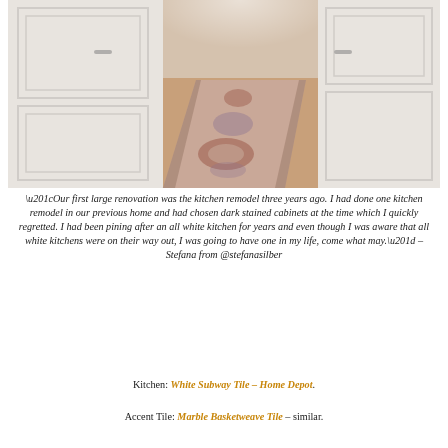[Figure (photo): Kitchen hallway with white cabinetry on both sides and a patterned runner rug (red, beige, blue floral/medallion design) on light wood floors, photographed from one end looking toward the other end.]
“Our first large renovation was the kitchen remodel three years ago. I had done one kitchen remodel in our previous home and had chosen dark stained cabinets at the time which I quickly regretted. I had been pining after an all white kitchen for years and even though I was aware that all white kitchens were on their way out, I was going to have one in my life, come what may.” – Stefana from @stefanasilber
Kitchen: White Subway Tile – Home Depot.
Accent Tile: Marble Basketweave Tile – similar.